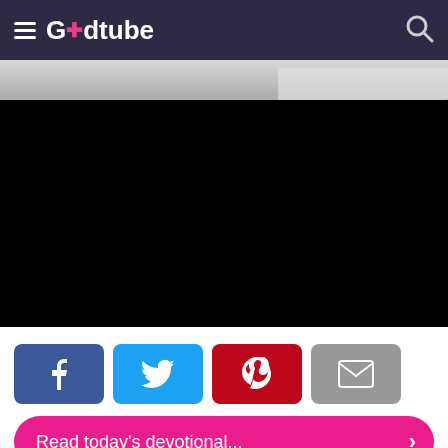Godtube
[Figure (screenshot): Video player area showing a partially visible frame at the top with a gray/white ceiling or surface visible, and the rest of the video area is black (video paused or loading).]
[Figure (other): Social share buttons: Facebook (blue), Twitter (cyan), Pinterest (dark red), Email (gray)]
Read today's devotional...